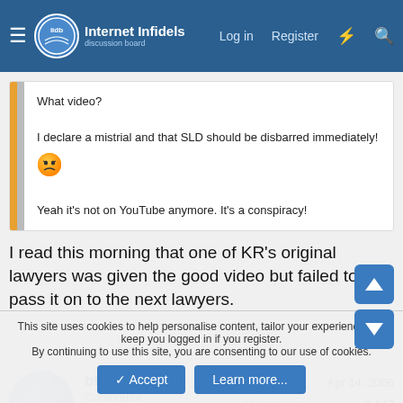Internet Infidels — Log in | Register
What video?

I declare a mistrial and that SLD should be disbarred immediately! 😠
Yeah it's not on YouTube anymore. It's a conspiracy!
I read this morning that one of KR's original lawyers was given the good video but failed to pass it on to the next lawyers.
blastula
Contributor
Joined: Apr 14, 2006
Messages: 8,147
Gender: Late for dinner
Basic Beliefs: Gnostic atheist
This site uses cookies to help personalise content, tailor your experience and keep you logged in if you register.
By continuing to use this site, you are consenting to our use of cookies.
Accept | Learn more...